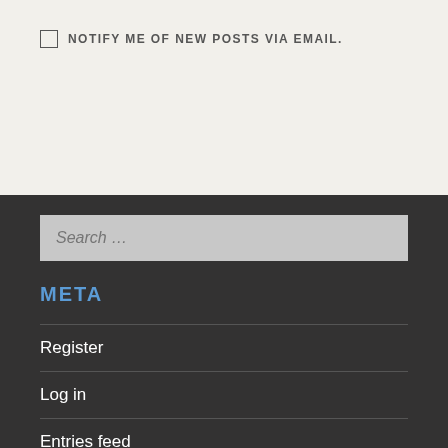NOTIFY ME OF NEW POSTS VIA EMAIL.
META
Register
Log in
Entries feed
Comments feed